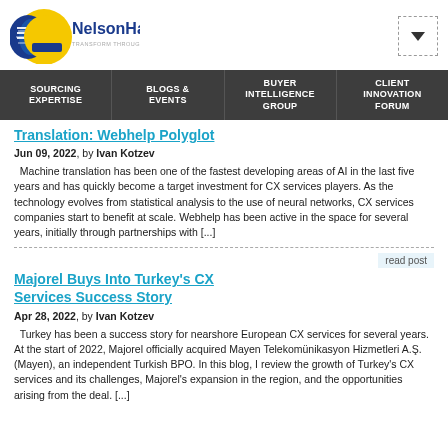[Figure (logo): NelsonHall logo with blue and yellow globe graphic and text 'NelsonHall TRANSFORM THROUGH INSIGHT']
Navigation menu with items: SOURCING EXPERTISE, BLOGS & EVENTS, BUYER INTELLIGENCE GROUP, CLIENT INNOVATION FORUM
Translation: Webhelp Polyglot
Jun 09, 2022, by Ivan Kotzev
Machine translation has been one of the fastest developing areas of AI in the last five years and has quickly become a target investment for CX services players. As the technology evolves from statistical analysis to the use of neural networks, CX services companies start to benefit at scale. Webhelp has been active in the space for several years, initially through partnerships with [...]
Majorel Buys Into Turkey's CX Services Success Story
Apr 28, 2022, by Ivan Kotzev
Turkey has been a success story for nearshore European CX services for several years. At the start of 2022, Majorel officially acquired Mayen Telekomünikasyon Hizmetleri A.Ş. (Mayen), an independent Turkish BPO. In this blog, I review the growth of Turkey's CX services and its challenges, Majorel's expansion in the region, and the opportunities arising from the deal. [...]